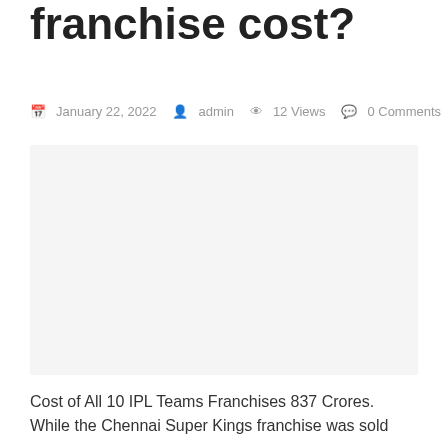franchise cost?
January 22, 2022  admin  12 Views  0 Comments
[Figure (photo): Image placeholder area (blank/white) related to IPL franchise cost article]
Cost of All 10 IPL Teams Franchises 837 Crores. While the Chennai Super Kings franchise was sold